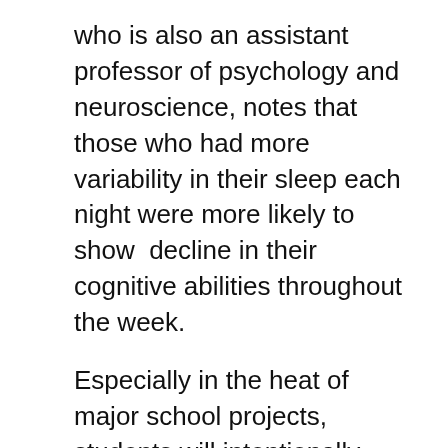who is also an assistant professor of psychology and neuroscience, notes that those who had more variability in their sleep each night were more likely to show  decline in their cognitive abilities throughout the week.
Especially in the heat of major school projects, students will intentionally lose sleep to get the work done, but then they follow that up with a marathon, doing this repeatedly throughout the school year.  The many deadlines and tasks associated with big projects outnumber those that come with exams, and these tasks and deadlines contribute to the variability in sleep.
These findings were published in the Journal of Interior Design, and it was specifically for those students in the interior design program.